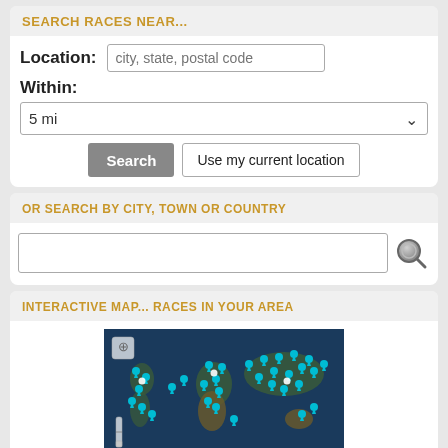SEARCH RACES NEAR...
Location:
city, state, postal code
Within:
5 mi
Search
Use my current location
OR SEARCH BY CITY, TOWN OR COUNTRY
[Figure (screenshot): Search input box with magnifying glass icon]
INTERACTIVE MAP... RACES IN YOUR AREA
[Figure (map): World satellite map with teal/cyan map pins marking race locations across continents]